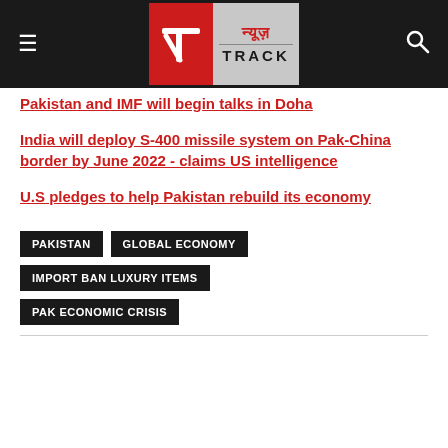News Track - न्यूज़ TRACK
Pakistan and IMF will begin talks in Doha
India will deploy S-400 missile system on Pak-China border by June 2022 - claims US intelligence
U.S pledges to help Pakistan rebuild its economy
PAKISTAN  GLOBAL ECONOMY  IMPORT BAN LUXURY ITEMS  PAK ECONOMIC CRISIS